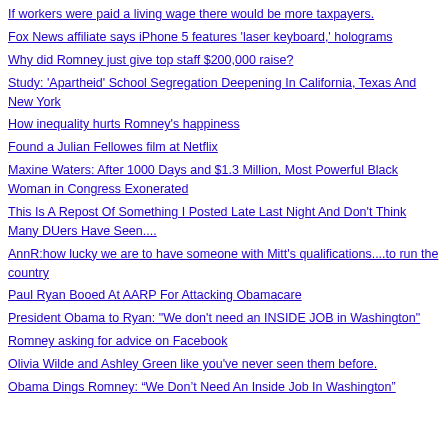If workers were paid a living wage there would be more taxpayers.
Fox News affiliate says iPhone 5 features 'laser keyboard,' holograms
Why did Romney just give top staff $200,000 raise?
Study: 'Apartheid' School Segregation Deepening In California, Texas And New York
How inequality hurts Romney's happiness
Found a Julian Fellowes film at Netflix
Maxine Waters: After 1000 Days and $1.3 Million, Most Powerful Black Woman in Congress Exonerated
This Is A Repost Of Something I Posted Late Last Night And Don't Think Many DUers Have Seen....
AnnR:how lucky we are to have someone with Mitt's qualifications....to run the country
Paul Ryan Booed At AARP For Attacking Obamacare
President Obama to Ryan: "We don't need an INSIDE JOB in Washington"
Romney asking for advice on Facebook
Olivia Wilde and Ashley Green like you've never seen them before.
Obama Dings Romney: “We Don’t Need An Inside Job In Washington”